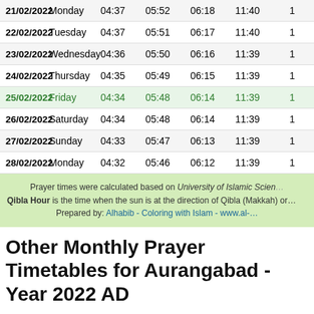| Date | Day | Col3 | Col4 | Col5 | Col6 | Col7 |
| --- | --- | --- | --- | --- | --- | --- |
| 21/02/2022 | Monday | 04:37 | 05:52 | 06:18 | 11:40 | 1 |
| 22/02/2022 | Tuesday | 04:37 | 05:51 | 06:17 | 11:40 | 1 |
| 23/02/2022 | Wednesday | 04:36 | 05:50 | 06:16 | 11:39 | 1 |
| 24/02/2022 | Thursday | 04:35 | 05:49 | 06:15 | 11:39 | 1 |
| 25/02/2022 | Friday | 04:34 | 05:48 | 06:14 | 11:39 | 1 |
| 26/02/2022 | Saturday | 04:34 | 05:48 | 06:14 | 11:39 | 1 |
| 27/02/2022 | Sunday | 04:33 | 05:47 | 06:13 | 11:39 | 1 |
| 28/02/2022 | Monday | 04:32 | 05:46 | 06:12 | 11:39 | 1 |
Prayer times were calculated based on University of Islamic Science... Qibla Hour is the time when the sun is at the direction of Qibla (Makkah) or... Prepared by: Alhabib - Coloring with Islam - www.al-...
Other Monthly Prayer Timetables for Aurangabad - Year 2022 AD
January 2022 | February 2022 | March 2022 | April 2022 | May 2022 | June 2022 | July 2022 | August 2022 | September 2022 | October 2022 | November 2022 | December 2022